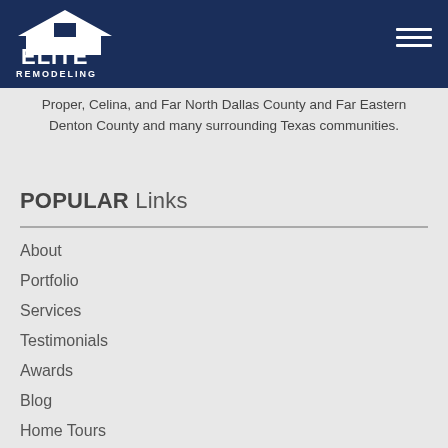Elite Remodeling
Proper, Celina, and Far North Dallas County and Far Eastern Denton County and many surrounding Texas communities.
POPULAR Links
About
Portfolio
Services
Testimonials
Awards
Blog
Home Tours